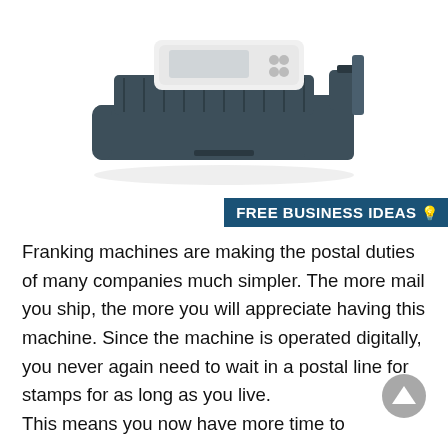[Figure (photo): A franking machine / postage meter device shown in dark gray and white colors from a top-angle perspective]
FREE BUSINESS IDEAS💡
Franking machines are making the postal duties of many companies much simpler. The more mail you ship, the more you will appreciate having this machine. Since the machine is operated digitally, you never again need to wait in a postal line for stamps for as long as you live.
This means you now have more time to